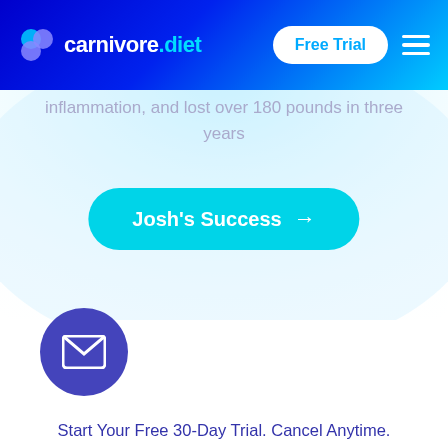carnivore.diet — Free Trial navigation bar
inflammation, and lost over 180 pounds in three years
Josh's Success →
[Figure (illustration): Light blue curved wave/blob background shape beneath the navigation bar]
[Figure (logo): Purple circle with white envelope/mail icon]
Start Your Free 30-Day Trial. Cancel Anytime.